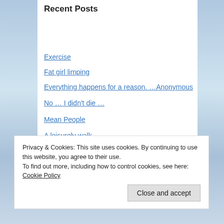Recent Posts
Exercise
Fat girl limping
Everything happens for a reason. …Anonymous
No … I didn't die …
Mean People
A leisurely walk
Spiraling
Hopeful …
Tormented Screams of the Damned
Privacy & Cookies: This site uses cookies. By continuing to use this website, you agree to their use.
To find out more, including how to control cookies, see here: Cookie Policy
Close and accept